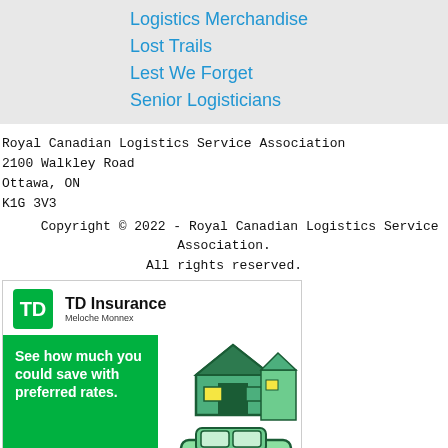Logistics Merchandise
Lost Trails
Lest We Forget
Senior Logisticians
Royal Canadian Logistics Service Association
2100 Walkley Road
Ottawa, ON
K1G 3V3
Copyright © 2022 - Royal Canadian Logistics Service Association. All rights reserved.
[Figure (infographic): TD Insurance Meloche Monnex advertisement. Shows TD green logo, text 'TD Insurance Meloche Monnex', green left panel with text 'See how much you could save with preferred rates.' and orange 'Get a quote' button. Right panel shows illustrated house with car graphic.]